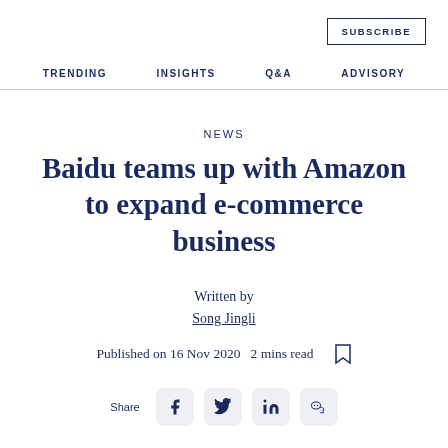SUBSCRIBE
TRENDING   INSIGHTS   Q&A   ADVISORY
NEWS
Baidu teams up with Amazon to expand e-commerce business
Written by
Song Jingli
Published on 16 Nov 2020  2 mins read
Share